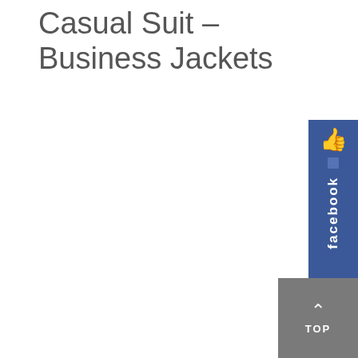Casual Suit – Business Jackets
[Figure (logo): Facebook like/share widget button, blue background with thumbs up icon and 'facebook' text written vertically]
[Figure (other): Gray 'TOP' scroll-to-top button with upward arrow]